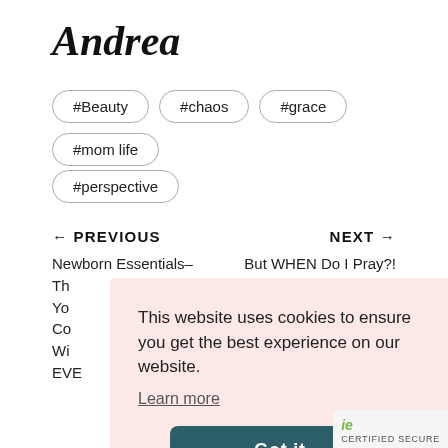Andrea
#Beauty
#chaos
#grace
#mom life
#perspective
← PREVIOUS
NEXT →
Newborn Essentials–
But WHEN Do I Pray?!
This website uses cookies to ensure you get the best experience on our website.
Learn more
Got it
CERTIFIED SECURE